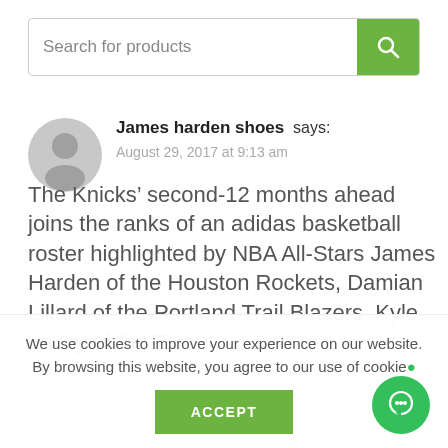[Figure (screenshot): Search bar with placeholder text 'Search for products' and green search button with magnifying glass icon]
James harden shoes says:
August 29, 2017 at 9:13 am
The Knicks’ second-12 months ahead joins the ranks of an adidas basketball roster highlighted by NBA All-Stars James Harden of the Houston Rockets, Damian Lillard of the Portland Trail Blazers, Kyle Lowry of the Toronto
We use cookies to improve your experience on our website. By browsing this website, you agree to our use of cookies
ACCEPT